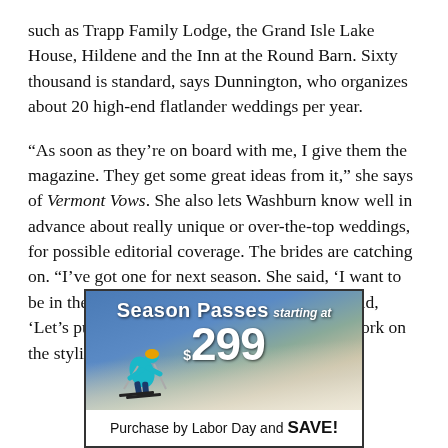such as Trapp Family Lodge, the Grand Isle Lake House, Hildene and the Inn at the Round Barn. Sixty thousand is standard, says Dunnington, who organizes about 20 high-end flatlander weddings per year.
“As soon as they’re on board with me, I give them the magazine. They get some great ideas from it,” she says of Vermont Vows. She also lets Washburn know well in advance about really unique or over-the-top weddings, for possible editorial coverage. The brides are catching on. “I’ve got one for next season. She said, ‘I want to be in the magazine,’ Dunnington explains. “I said, ‘Let’s put some creative thought into it. Let’s work on the styling and we’ll see.’”
[Figure (infographic): Advertisement for Season Passes starting at $299. Shows a skier on a snowy slope. Text reads 'Season Passes starting at $299' and 'Purchase by Labor Day and SAVE!']